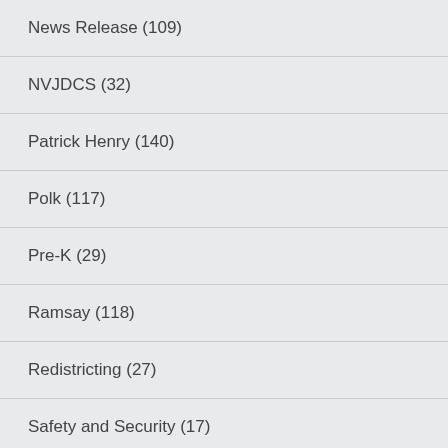News Release (109)
NVJDCS (32)
Patrick Henry (140)
Polk (117)
Pre-K (29)
Ramsay (118)
Redistricting (27)
Safety and Security (17)
Satellite (71)
School Board (93)